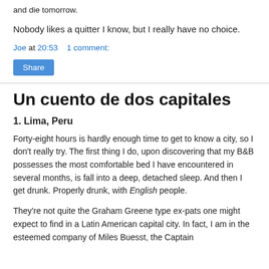and die tomorrow.
Nobody likes a quitter I know, but I really have no choice.
Joe at 20:53    1 comment:
Share
Un cuento de dos capitales
1. Lima, Peru
Forty-eight hours is hardly enough time to get to know a city, so I don't really try. The first thing I do, upon discovering that my B&B possesses the most comfortable bed I have encountered in several months, is fall into a deep, detached sleep. And then I get drunk. Properly drunk, with English people.
They're not quite the Graham Greene type ex-pats one might expect to find in a Latin American capital city. In fact, I am in the esteemed company of Miles Buesst, the Captain